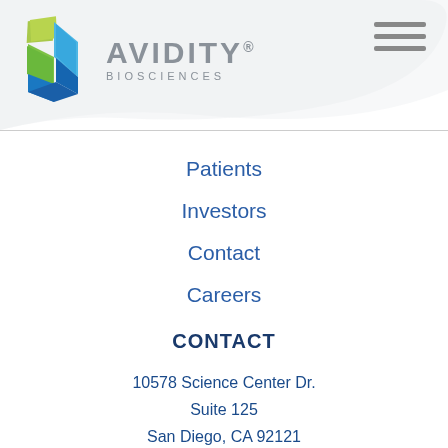[Figure (logo): Avidity Biosciences logo with diamond-shaped icon in green and blue gradient colors, and company name AVIDITY BIOSCIENCES]
Patients
Investors
Contact
Careers
CONTACT
10578 Science Center Dr.
Suite 125
San Diego, CA 92121
info@aviditybio.com
Tel: 858-401-7900